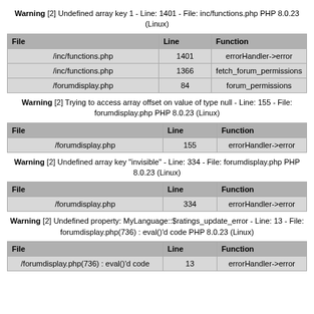Warning [2] Undefined array key 1 - Line: 1401 - File: inc/functions.php PHP 8.0.23 (Linux)
| File | Line | Function |
| --- | --- | --- |
| /inc/functions.php | 1401 | errorHandler->error |
| /inc/functions.php | 1366 | fetch_forum_permissions |
| /forumdisplay.php | 84 | forum_permissions |
Warning [2] Trying to access array offset on value of type null - Line: 155 - File: forumdisplay.php PHP 8.0.23 (Linux)
| File | Line | Function |
| --- | --- | --- |
| /forumdisplay.php | 155 | errorHandler->error |
Warning [2] Undefined array key "invisible" - Line: 334 - File: forumdisplay.php PHP 8.0.23 (Linux)
| File | Line | Function |
| --- | --- | --- |
| /forumdisplay.php | 334 | errorHandler->error |
Warning [2] Undefined property: MyLanguage::$ratings_update_error - Line: 13 - File: forumdisplay.php(736) : eval()'d code PHP 8.0.23 (Linux)
| File | Line | Function |
| --- | --- | --- |
| /forumdisplay.php(736) : eval()'d code | 13 | errorHandler->error |